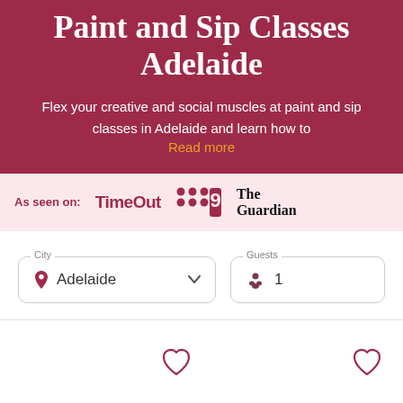Paint and Sip classes Adelaide
Flex your creative and social muscles at paint and sip classes in Adelaide and learn how to Read more
As seen on: TimeOut  9  The Guardian
City
Adelaide
Guests
1